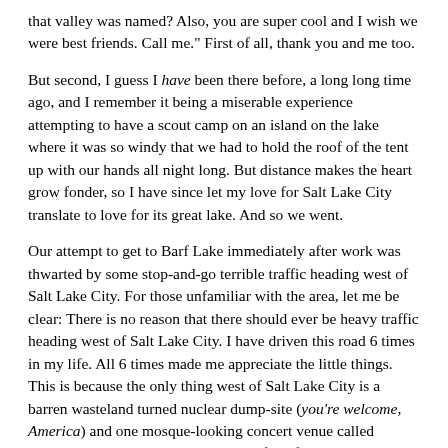that valley was named? Also, you are super cool and I wish we were best friends. Call me." First of all, thank you and me too.
But second, I guess I have been there before, a long long time ago, and I remember it being a miserable experience attempting to have a scout camp on an island on the lake where it was so windy that we had to hold the roof of the tent up with our hands all night long. But distance makes the heart grow fonder, so I have since let my love for Salt Lake City translate to love for its great lake. And so we went.
Our attempt to get to Barf Lake immediately after work was thwarted by some stop-and-go terrible traffic heading west of Salt Lake City. For those unfamiliar with the area, let me be clear: There is no reason that there should ever be heavy traffic heading west of Salt Lake City. I have driven this road 6 times in my life. All 6 times made me appreciate the little things. This is because the only thing west of Salt Lake City is a barren wasteland turned nuclear dump-site (you're welcome, America) and one mosque-looking concert venue called "Saltaire" that was built on the edge of Barf Lake 5 billion years ago for reasons I've never understood.
We were told that the traffic problem had to do with "road construction." I'm still unsure why anyone ever felt a need to construct a road out this way in the first place, let alone felt